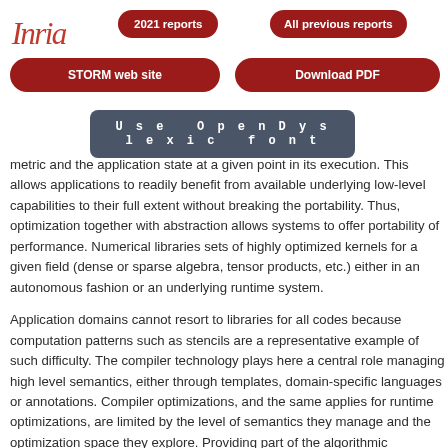Inria logo, 2021 reports button, All previous reports button, STORM web site button, Download PDF button, Use OpenDyslexic font button
metric and the application state at a given point in its execution. This allows applications to readily benefit from available underlying low-level capabilities to their full extent without breaking the portability. Thus, optimization together with abstraction allows systems to offer portability of performance. Numerical libraries provide sets of highly optimized kernels for a given field (dense or sparse algebra, tensor products, etc.) either in an autonomous fashion or on an underlying runtime system.
Application domains cannot resort to libraries for all codes because computation patterns such as stencils are a representative example of such difficulty. The compiler technology plays here a central role for managing high level semantics, either through templates, domain-specific languages or annotations. Compiler optimizations, and the same applies for runtime optimizations, are limited by the level of semantics they manage and the optimization space they explore. Providing part of the algorithmic knowledge of an application